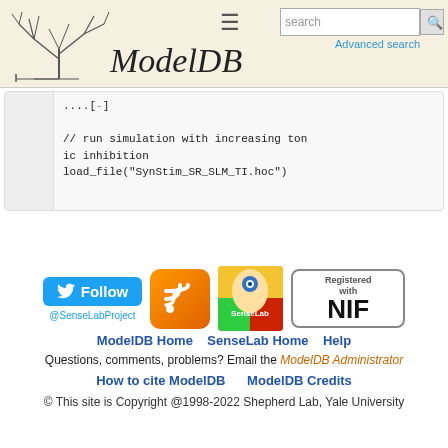ModelDB — search — Advanced search
....[-]

// run simulation with increasing tonic inhibition
load_file("SynStim_SR_SLM_TI.hoc")
[Figure (logo): ModelDB website footer with Twitter Follow @SenseLabProject button, RSS feed icon, SenseLab logo, and NIF Registered badge]
ModelDB Home   SenseLab Home   Help
Questions, comments, problems? Email the ModelDB Administrator
How to cite ModelDB     ModelDB Credits
© This site is Copyright @1998-2022 Shepherd Lab, Yale University